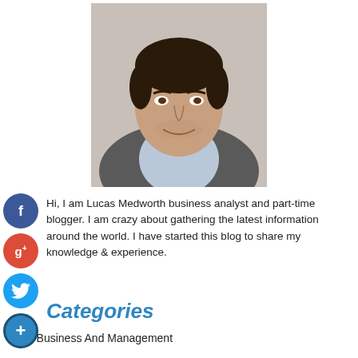[Figure (photo): Headshot of a middle-aged man with dark hair wearing a grey blazer and light blue shirt, smiling slightly]
Hi, I am Lucas Medworth business analyst and part-time blogger. I am crazy about gathering the latest information around the world. I have started this blog to share my knowledge & experience.
Categories
Business And Management